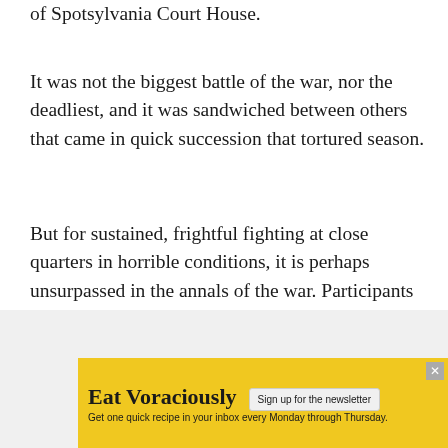of Spotsylvania Court House.
It was not the biggest battle of the war, nor the deadliest, and it was sandwiched between others that came in quick succession that tortured season.
But for sustained, frightful fighting at close quarters in horrible conditions, it is perhaps unsurpassed in the annals of the war. Participants found it worse than the earlier battles at Gettysburg and Antietam.
[Figure (other): Advertisement banner: Eat Voraciously newsletter signup. Yellow background with bold serif title 'Eat Voraciously', a button 'Sign up for the newsletter', and subtitle 'Get one quick recipe in your inbox every Monday through Thursday.']